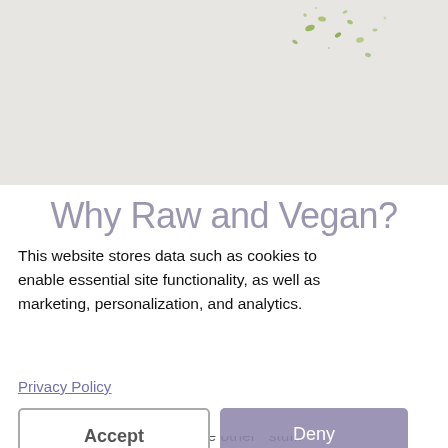[Figure (photo): Light grey textured background with scattered green herb/powder specks at the top of the page]
Why Raw and Vegan?
This website stores data such as cookies to enable essential site functionality, as well as marketing, personalization, and analytics.
Privacy Policy
Accept  Deny
nose who t – without ges in your need to give
re not just you will stuff.
naturally foods interest in the other stuff.